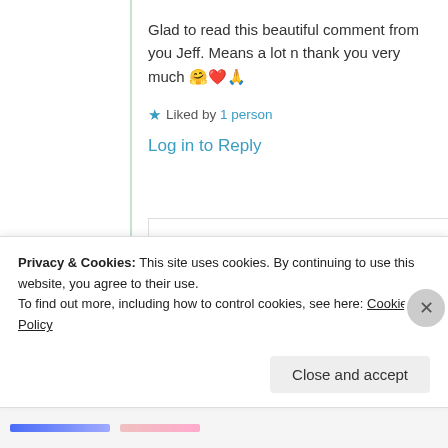Glad to read this beautiful comment from you Jeff. Means a lot n thank you very much 🤗❤️🙏
★ Liked by 1 person
Log in to Reply
[Figure (photo): Circular avatar photo of Jeff Flesch, a man]
Jeff Flesch
25th Aug 2021 at
Privacy & Cookies: This site uses cookies. By continuing to use this website, you agree to their use.
To find out more, including how to control cookies, see here: Cookie Policy
Close and accept